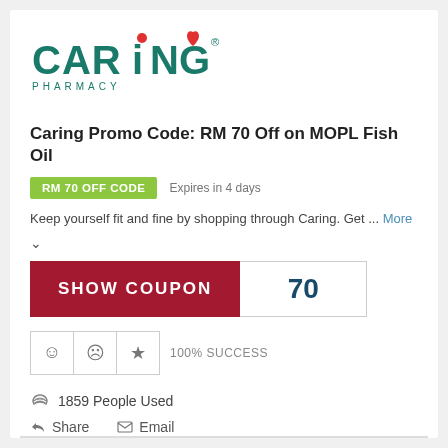[Figure (logo): Caring Pharmacy logo with teal text and red heart]
Caring Promo Code: RM 70 Off on MOPL Fish Oil
RM 70 OFF CODE   Expires in 4 days
Keep yourself fit and fine by shopping through Caring. Get ... More
SHOW COUPON   70
100% SUCCESS
1859 People Used
Share   Email